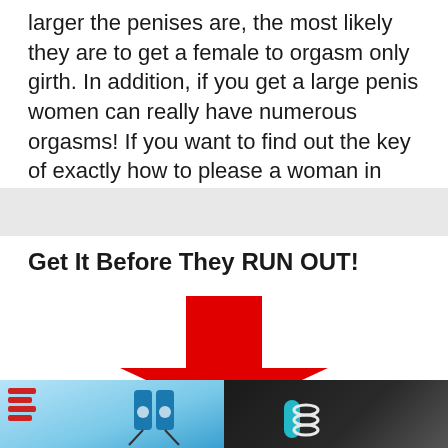larger the penises are, the most likely they are to get a female to orgasm only girth. In addition, if you get a large penis women can really have numerous orgasms! If you want to find out the key of exactly how to please a woman in bed keep reading.
Get It Before They RUN OUT!
[Figure (photo): A large red downward-pointing arrow above two product images of a blue device, one shown on a light background with product listing details, one shown on a dark background.]